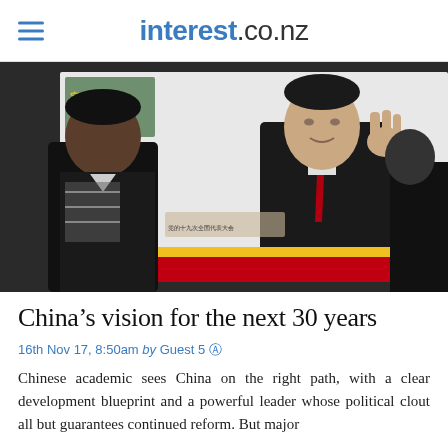interest.co.nz
[Figure (photo): A man viewed from the side looking at a large billboard/poster of Chinese President Xi Jinping waving, with Chinese text and decorative red and gold elements on the billboard.]
China's vision for the next 30 years
16th Nov 17, 8:50am by Guest 5
Chinese academic sees China on the right path, with a clear development blueprint and a powerful leader whose political clout all but guarantees continued reform. But major